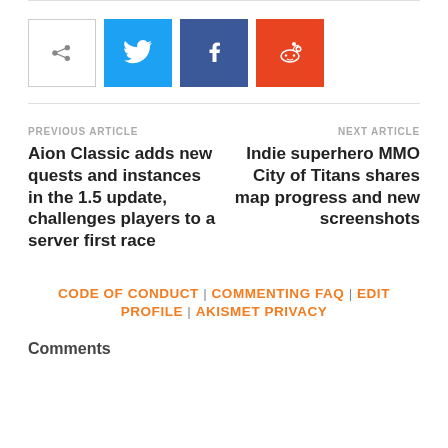[Figure (infographic): Social share bar with a share icon button, Twitter (blue), Facebook (dark blue), and Reddit (orange-red) icon buttons]
PREVIOUS ARTICLE
Aion Classic adds new quests and instances in the 1.5 update, challenges players to a server first race
NEXT ARTICLE
Indie superhero MMO City of Titans shares map progress and new screenshots
CODE OF CONDUCT | COMMENTING FAQ | EDIT PROFILE | AKISMET PRIVACY
COMMENTS